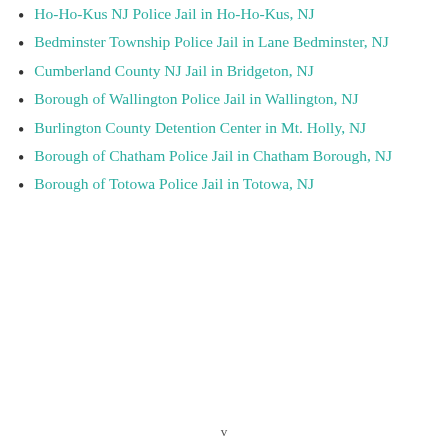Ho-Ho-Kus NJ Police Jail in Ho-Ho-Kus, NJ
Bedminster Township Police Jail in Lane Bedminster, NJ
Cumberland County NJ Jail in Bridgeton, NJ
Borough of Wallington Police Jail in Wallington, NJ
Burlington County Detention Center in Mt. Holly, NJ
Borough of Chatham Police Jail in Chatham Borough, NJ
Borough of Totowa Police Jail in Totowa, NJ
v